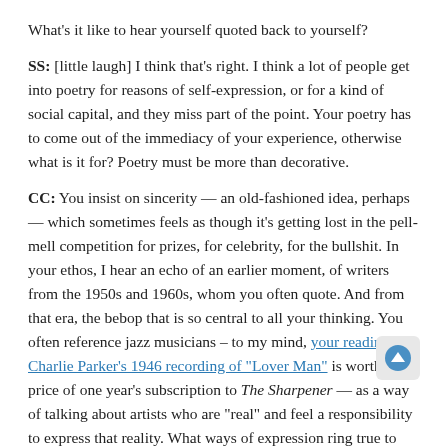What's it like to hear yourself quoted back to yourself?
SS: [little laugh] I think that's right. I think a lot of people get into poetry for reasons of self-expression, or for a kind of social capital, and they miss part of the point. Your poetry has to come out of the immediacy of your experience, otherwise what is it for? Poetry must be more than decorative.
CC: You insist on sincerity — an old-fashioned idea, perhaps — which sometimes feels as though it's getting lost in the pell-mell competition for prizes, for celebrity, for the bullshit. In your ethos, I hear an echo of an earlier moment, of writers from the 1950s and 1960s, whom you often quote. And from that era, the bebop that is so central to all your thinking. You often reference jazz musicians – to my mind, your reading of Charlie Parker's 1946 recording of "Lover Man" is worth the price of one year's subscription to The Sharpener — as a way of talking about artists who are "real" and feel a responsibility to express that reality. What ways of expression ring true to you?